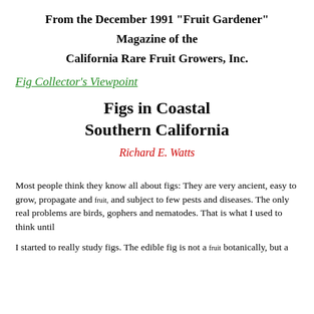From the December 1991 "Fruit Gardener"
Magazine of the
California Rare Fruit Growers, Inc.
Fig Collector's Viewpoint
Figs in Coastal Southern California
Richard E. Watts
Most people think they know all about figs: They are very ancient, easy to grow, propagate and fruit, and subject to few pests and diseases. The only real problems are birds, gophers and nematodes. That is what I used to think until
I started to really study figs. The edible fig is not a fruit botanically, but a